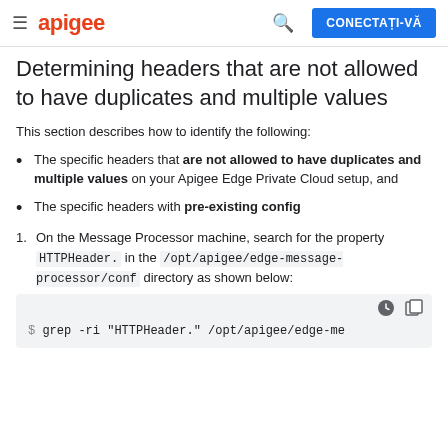apigee | CONECTAȚI-VĂ
Determining headers that are not allowed to have duplicates and multiple values
This section describes how to identify the following:
The specific headers that are not allowed to have duplicates and multiple values on your Apigee Edge Private Cloud setup, and
The specific headers with pre-existing config
On the Message Processor machine, search for the property HTTPHeader. in the /opt/apigee/edge-message-processor/conf directory as shown below:
[Figure (screenshot): Code block showing: $ grep -ri "HTTPHeader." /opt/apigee/edge-me]